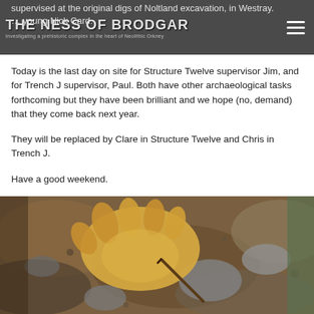THE NESS OF BRODGAR — Investigating a prehistoric complex in the heart of Neolithic Orkney
supervised at the original digs of Noltland excavation, in Westray. ... young Nick Card.
Today is the last day on site for Structure Twelve supervisor Jim, and for Trench J supervisor, Paul. Both have other archaeological tasks forthcoming but they have been brilliant and we hope (no, demand) that they come back next year.
They will be replaced by Clare in Structure Twelve and Chris in Trench J.
Have a good weekend.
[Figure (photo): Close-up photograph of a gloved hand using a tool to excavate at an archaeological dig site, with soil and stones visible.]